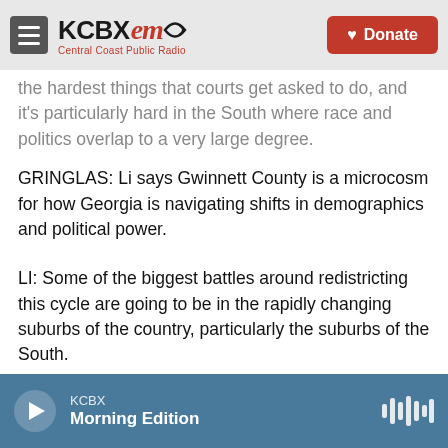KCBX FM - Central Coast Public Radio | Donate
the hardest things that courts get asked to do, and it's particularly hard in the South where race and politics overlap to a very large degree.
GRINGLAS: Li says Gwinnett County is a microcosm for how Georgia is navigating shifts in demographics and political power.
LI: Some of the biggest battles around redistricting this cycle are going to be in the rapidly changing suburbs of the country, particularly the suburbs of the South.
GRINGLAS: Georgia Democrats and voting rights
KCBX | Morning Edition